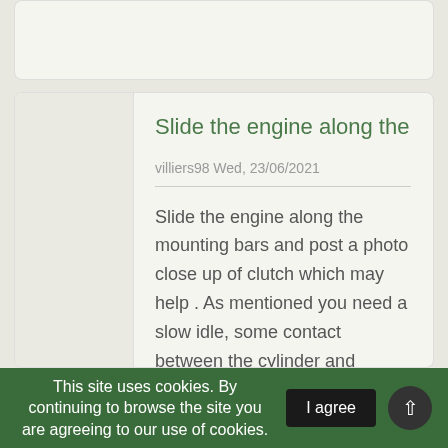Slide the engine along the
villiers98 Wed, 23/06/2021
Slide the engine along the mounting bars and post a photo close up of clutch which may help . As mentioned you need a slow idle, some contact between the cylinder and bottom blade, and don't push the engine right into the clutch drum as the drag will turn the cylinder.
This site uses cookies. By continuing to browse the site you are agreeing to our use of cookies. | I agree